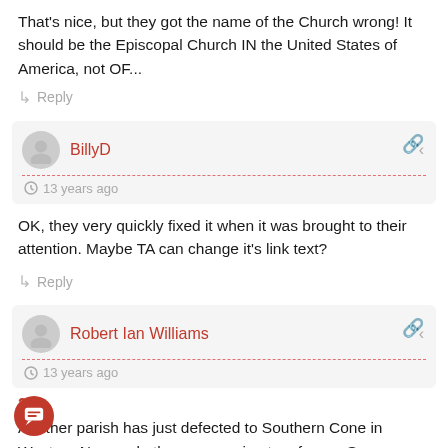That's nice, but they got the name of the Church wrong! It should be the Episcopal Church IN the United States of America, not OF...
↳ Reply
BillyD
13 years ago
OK, they very quickly fixed it when it was brought to their attention. Maybe TA can change it's link text?
↳ Reply
Robert Ian Williams
13 years ago
27
Another parish has just defected to Southern Cone in Western New york. they are moving to a former Synagogue and not making lawwwers wealthy in a hopeless case to maintain their